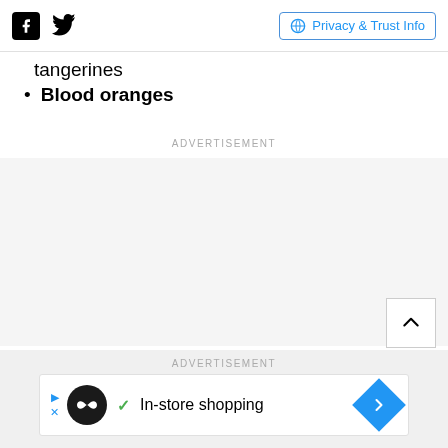Social icons (Facebook, Twitter) | Privacy & Trust Info
Tangerines (partial, cut off at top)
Blood oranges
ADVERTISEMENT
[Figure (other): Empty advertisement space]
ADVERTISEMENT
[Figure (other): In-store shopping advertisement banner with logo and navigation icon]